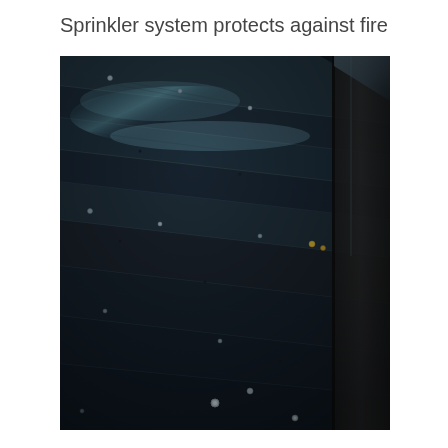Sprinkler system protects against fire
[Figure (photo): Close-up aerial/angled view of dark wet wooden plank boards, appearing charred or water-soaked, with nails and nail holes visible. The planks run diagonally across the frame. There is a vertical wooden border or edge piece on the right side. The image is dark with cool blue-gray tones, suggesting fire damage or water saturation from a sprinkler system.]